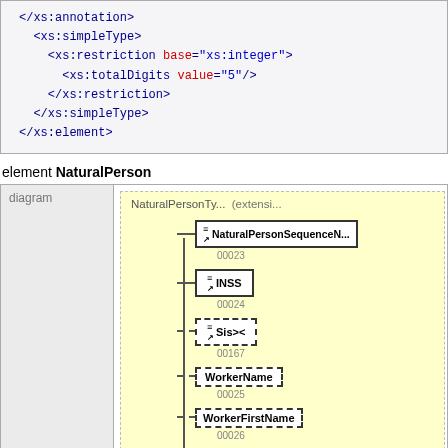[Figure (screenshot): Code box showing XML schema snippet: </xs:annotation>, <xs:simpleType>, <xs:restriction base='xs:integer'>, <xs:totalDigits value='5'/>, </xs:restriction>, </xs:simpleType>, </xs:element>]
element NaturalPerson
[Figure (engineering-diagram): XML schema diagram for NaturalPerson element showing NaturalPersonTy... (extensi... with child nodes: NaturalPersonSequenceN... (00023), INSS (00024), Sis>< (00167), WorkerName (00025), WorkerFirstName (00026)]